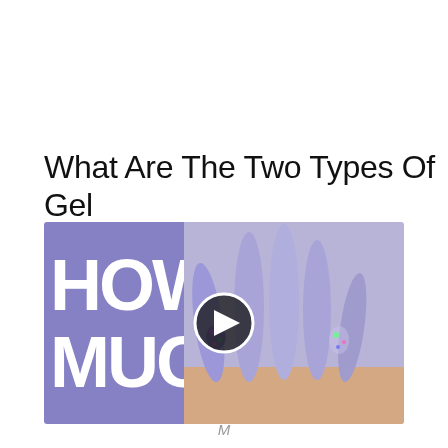What Are The Two Types Of Gel
[Figure (photo): Video thumbnail showing 'HOW MUCH' text on purple background on the left, and a hand with long purple stiletto gel nails on the right, with a play button overlay in the center.]
M